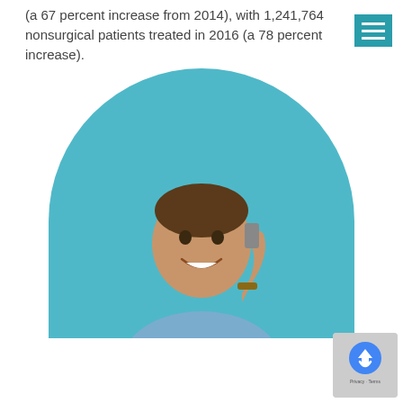(a 67 percent increase from 2014), with 1,241,764 nonsurgical patients treated in 2016 (a 78 percent increase).
[Figure (photo): A smiling young man holding a phone to his ear, shown from the chest up, set against a light blue semicircular background.]